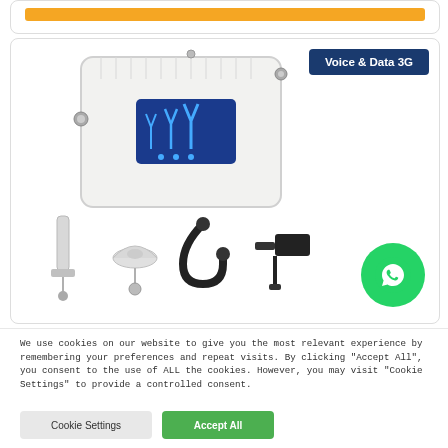[Figure (photo): Yellow/orange bar inside a rounded card at the top of the page]
[Figure (photo): Product card showing a Voice & Data 3G cellular signal booster/repeater device (white box with blue display panel showing antenna bars) with accessories: panel antenna, dome antenna, coaxial cable, power adapter. A green WhatsApp button overlays the bottom right corner.]
We use cookies on our website to give you the most relevant experience by remembering your preferences and repeat visits. By clicking "Accept All", you consent to the use of ALL the cookies. However, you may visit "Cookie Settings" to provide a controlled consent.
Cookie Settings
Accept All